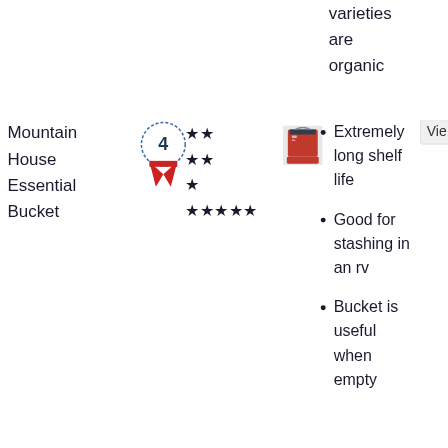varieties are organic
Mountain House Essential Bucket
[Figure (other): Rank badge showing number 4, red and white ribbon style]
★★ ★★ ★ ★★★★★
[Figure (photo): Mountain House Essential Bucket product image]
Extremely long shelf life
Good for stashing in an rv
Bucket is useful when empty
Vie
White Bean
[Figure (other): Rank badge showing number 5, red and white ribbon style]
★★
[Figure (photo): White Bean product image]
Good
Vie